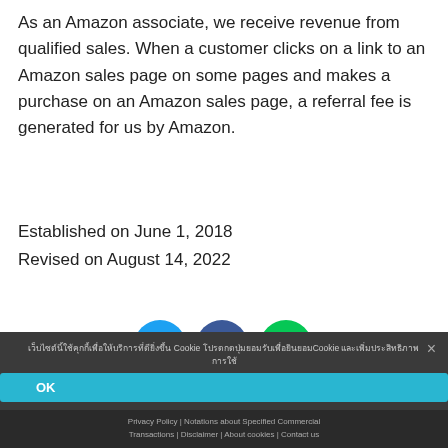As an Amazon associate, we receive revenue from qualified sales. When a customer clicks on a link to an Amazon sales page on some pages and makes a purchase on an Amazon sales page, a referral fee is generated for us by Amazon.
Established on June 1, 2018
Revised on August 14, 2022
[Figure (other): Social media share icons: Twitter (blue bird), Facebook (dark blue f), LINE (green LINE logo)]
Cookie notice banner with Thai text referencing Cookie policy, OK button, and close X. Footer links: Privacy Policy | Notations about Specified Commercial Transactions